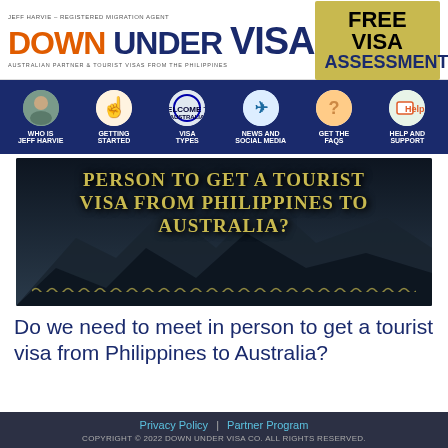[Figure (logo): Down Under Visa logo with tagline 'Australian Partner & Tourist Visas from the Philippines' and 'Jeff Harvie - Registered Migration Agent']
[Figure (infographic): Free Visa Assessment promotional box in gold/olive background]
[Figure (infographic): Navigation bar with icons: Who is Jeff Harvie, Getting Started, Visa Types, News and Social Media, Get the FAQs, Help and Support]
[Figure (photo): Hero banner image with dark mountain landscape and golden text: PERSON TO GET A TOURIST VISA FROM PHILIPPINES TO AUSTRALIA?]
Do we need to meet in person to get a tourist visa from Philippines to Australia?
Privacy Policy | Partner Program
COPYRIGHT © 2022 DOWN UNDER VISA CO. ALL RIGHTS RESERVED.